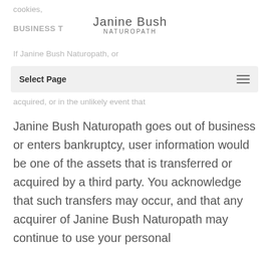cookies,
BUSINESS T
[Figure (logo): Janine Bush Naturopath logo — name in light gray with 'NATUROPATH' subtitle in spaced caps]
If Janine Bush Naturopath, or
Select Page   ≡   (navigation bar overlay) — ...lly all of its assets, were
acquired, or in the unlikely event that Janine Bush Naturopath goes out of business or enters bankruptcy, user information would be one of the assets that is transferred or acquired by a third party. You acknowledge that such transfers may occur, and that any acquirer of Janine Bush Naturopath may continue to use your personal